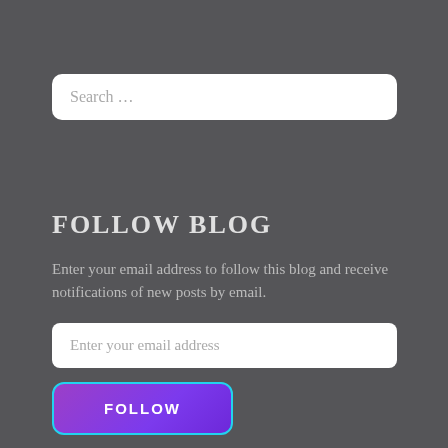Search …
FOLLOW BLOG
Enter your email address to follow this blog and receive notifications of new posts by email.
Enter your email address
FOLLOW